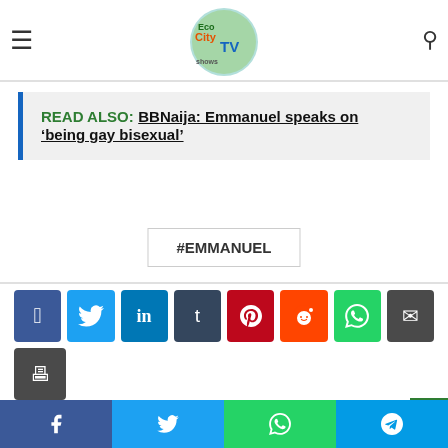Eco City TV Shows
Emmannuel for his voluntary leadership in implementing policies to ensure the safety and security of lives and property of...
READ ALSO: BBNaija: Emmanuel speaks on ‘being gay bisexual’
#EMMANUEL
[Figure (infographic): Social share buttons: Facebook, Twitter, LinkedIn, Tumblr, Pinterest, Reddit, WhatsApp, Email, Print]
Facebook, Twitter, WhatsApp, Telegram bottom bar